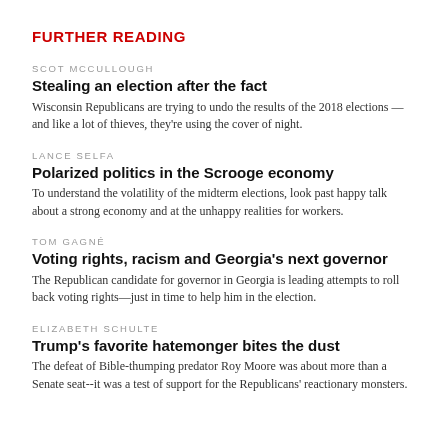FURTHER READING
SCOT MCCULLOUGH
Stealing an election after the fact
Wisconsin Republicans are trying to undo the results of the 2018 elections — and like a lot of thieves, they're using the cover of night.
LANCE SELFA
Polarized politics in the Scrooge economy
To understand the volatility of the midterm elections, look past happy talk about a strong economy and at the unhappy realities for workers.
TOM GAGNÉ
Voting rights, racism and Georgia's next governor
The Republican candidate for governor in Georgia is leading attempts to roll back voting rights—just in time to help him in the election.
ELIZABETH SCHULTE
Trump's favorite hatemonger bites the dust
The defeat of Bible-thumping predator Roy Moore was about more than a Senate seat--it was a test of support for the Republicans' reactionary monsters.